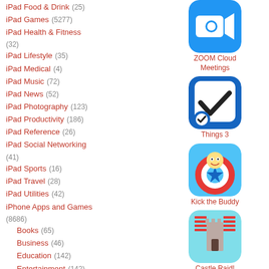iPad Food & Drink (25)
iPad Games (5277)
iPad Health & Fitness (32)
iPad Lifestyle (35)
iPad Medical (4)
iPad Music (72)
iPad News (52)
iPad Photography (123)
iPad Productivity (186)
iPad Reference (26)
iPad Social Networking (41)
iPad Sports (16)
iPad Travel (28)
iPad Utilities (42)
iPhone Apps and Games (8686)
Books (65)
Business (46)
Education (142)
Entertainment (142)
Finance (47)
Food & Drink (30)
Games (5779)
[Figure (illustration): ZOOM Cloud Meetings app icon - blue background with white video camera]
ZOOM Cloud Meetings
[Figure (illustration): Things 3 app icon - dark blue with white checkbox and circular badge]
Things 3
[Figure (illustration): Kick the Buddy app icon - cartoon character with life preserver]
Kick the Buddy
[Figure (illustration): Castle Raid! app icon - overhead view of arrows attacking a castle]
Castle Raid!
[Figure (illustration): Partial app icon at bottom - blue sky with a figure]